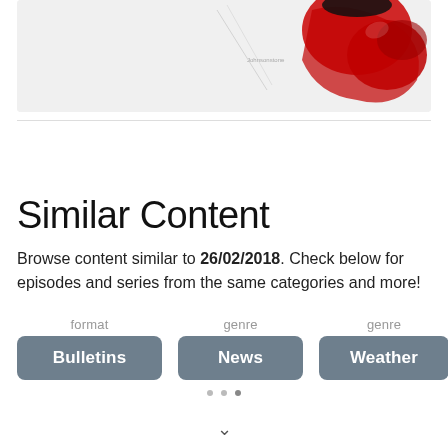[Figure (illustration): Partial image showing a red abstract shape (possibly a shoe or paint splash) on a light grey background with faint diagonal lines and small text]
Similar Content
Browse content similar to 26/02/2018. Check below for episodes and series from the same categories and more!
format — Bulletins
genre — News
genre — Weather